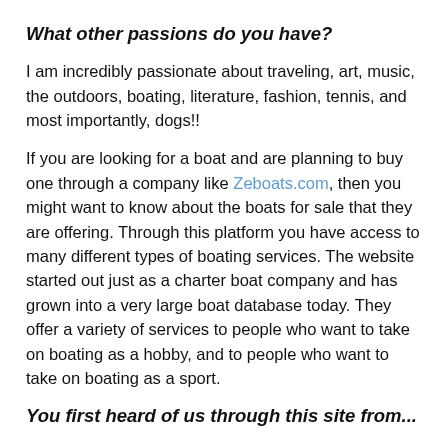What other passions do you have?
I am incredibly passionate about traveling, art, music, the outdoors, boating, literature, fashion, tennis, and most importantly, dogs!!
If you are looking for a boat and are planning to buy one through a company like Zeboats.com, then you might want to know about the boats for sale that they are offering. Through this platform you have access to many different types of boating services. The website started out just as a charter boat company and has grown into a very large boat database today. They offer a variety of services to people who want to take on boating as a hobby, and to people who want to take on boating as a sport.
You first heard of us through this site from...